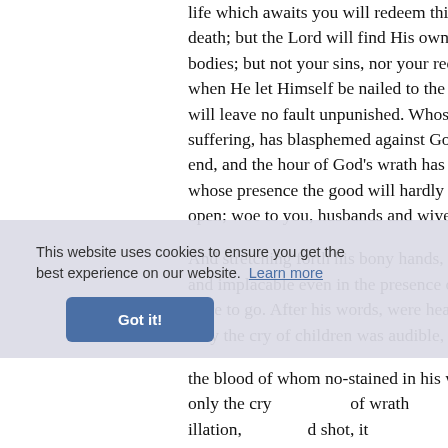life which awaits you will redeem this death; but the Lord will find His own bodies; but not your sins, nor your rec when He let Himself be nailed to the c will leave no fault unpunished. Whos suffering, has blasphemed against God end, and the hour of God's wrath has whose presence the good will hardly b open; woe to you, husbands and wives;
And stretching forth his bony hands, he and implacable even in the presence o were to go. After his words, were heard only the cry of children was audible, an the blood of whom no-stained in his v only the cry of wrath illation, through his he d shot, it spoke otherwise to t mind were darkness. dark chamb torture. The nearness of that torture, an
This website uses cookies to ensure you get the best experience on our website. Learn more
Got it!